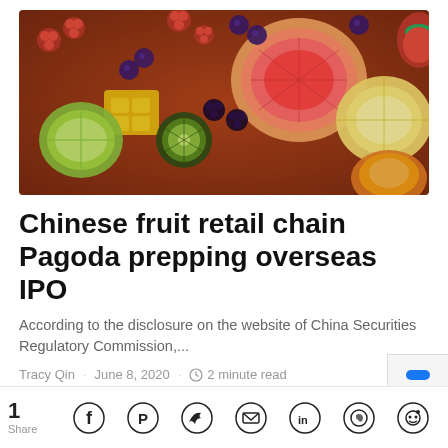[Figure (photo): Colorful assortment of tropical and mixed fruits including mango, blueberries, raspberries, blackberries, lime, kiwi, grapefruit, lemon, orange slices arranged together]
Chinese fruit retail chain Pagoda prepping overseas IPO
According to the disclosure on the website of China Securities Regulatory Commission,...
Tracy Qin · June 8, 2020 · 2 minute read
1 Share